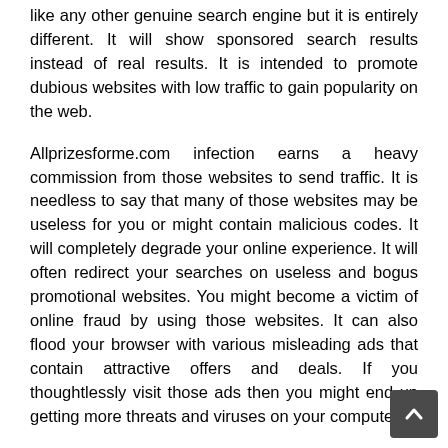like any other genuine search engine but it is entirely different. It will show sponsored search results instead of real results. It is intended to promote dubious websites with low traffic to gain popularity on the web.
Allprizesforme.com infection earns a heavy commission from those websites to send traffic. It is needless to say that many of those websites may be useless for you or might contain malicious codes. It will completely degrade your online experience. It will often redirect your searches on useless and bogus promotional websites. You might become a victim of online fraud by using those websites. It can also flood your browser with various misleading ads that contain attractive offers and deals. If you thoughtlessly visit those ads then you might end up getting more threats and viruses on your computer.
Once inside your computer, Allprizesforme.com can brutally mess with your system and browser settings without permission. The main motive of this infection boost the traffic for sponsored websites which are m...